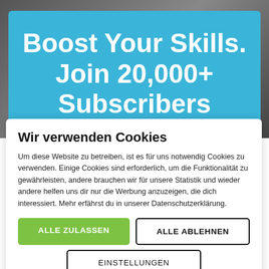[Figure (screenshot): Blue banner with white bold text reading 'Boost Your Skills. Join 20,000+ Subscribers' on a dark grey/photo background]
Wir verwenden Cookies
Um diese Website zu betreiben, ist es für uns notwendig Cookies zu verwenden. Einige Cookies sind erforderlich, um die Funktionalität zu gewährleisten, andere brauchen wir für unsere Statistik und wieder andere helfen uns dir nur die Werbung anzuzeigen, die dich interessiert. Mehr erfährst du in unserer Datenschutzerklärung.
ALLE ZULASSEN
ALLE ABLEHNEN
EINSTELLUNGEN
Datenschutz | Impressum